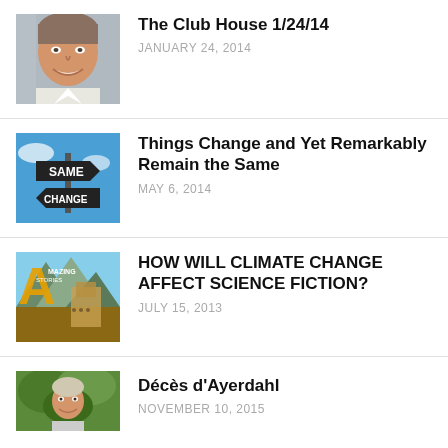[Figure (photo): Headshot of a smiling man outdoors]
The Club House 1/24/14
JANUARY 24, 2014
[Figure (photo): Street sign showing SAME and CHANGE arrows against a blue sky]
Things Change and Yet Remarkably Remain the Same
MAY 6, 2014
[Figure (photo): Amazing Stories magazine cover with science fiction artwork]
HOW WILL CLIMATE CHANGE AFFECT SCIENCE FICTION?
JULY 15, 2013
[Figure (photo): Outdoor portrait photo of a person among trees]
Décès d'Ayerdahl
NOVEMBER 10, 2015